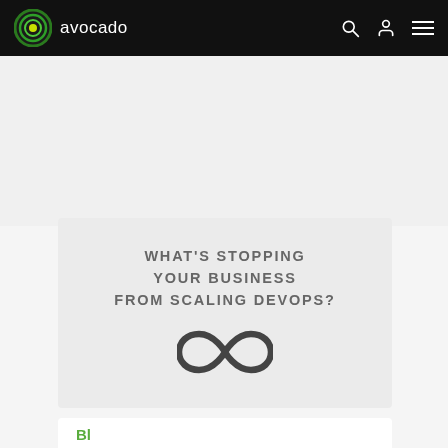avocado
WHAT'S STOPPING YOUR BUSINESS FROM SCALING DEVOPS?
[Figure (illustration): Infinity symbol (∞) representing DevOps continuous loop]
Bl...